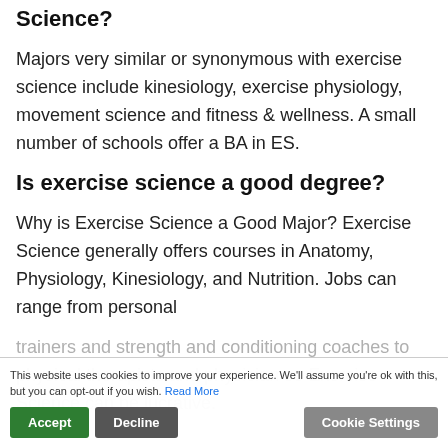Science?
Majors very similar or synonymous with exercise science include kinesiology, exercise physiology, movement science and fitness & wellness. A small number of schools offer a BA in ES.
Is exercise science a good degree?
Why is Exercise Science a Good Major? Exercise Science generally offers courses in Anatomy, Physiology, Kinesiology, and Nutrition. Jobs can range from personal trainers and strength and conditioning coaches to physical therapists and physician so Exercise Science can be lucrative.
This website uses cookies to improve your experience. We'll assume you're ok with this, but you can opt-out if you wish. Read More
Accept  Decline  Cookie Settings